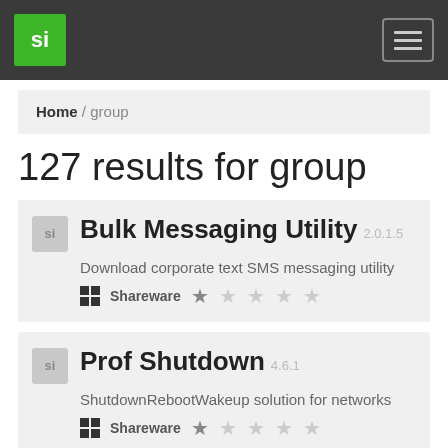si [logo] | hamburger menu
Home / group
127 results for group
Bulk Messaging Utility 2.0.1.5 — Download corporate text SMS messaging utility — Shareware — ★☆☆☆☆
Prof Shutdown 4.6.1 — ShutdownRebootWakeup solution for networks — Shareware — ★☆☆☆☆
Bulk SMS Utility 2.0.1.5